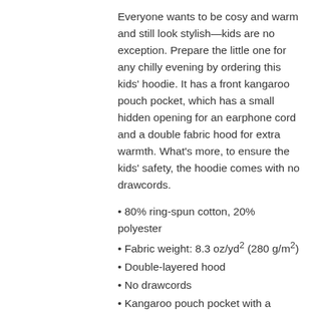Everyone wants to be cosy and warm and still look stylish—kids are no exception. Prepare the little one for any chilly evening by ordering this kids' hoodie. It has a front kangaroo pouch pocket, which has a small hidden opening for an earphone cord and a double fabric hood for extra warmth. What's more, to ensure the kids' safety, the hoodie comes with no drawcords.
80% ring-spun cotton, 20% polyester
Fabric weight: 8.3 oz/yd² (280 g/m²)
Double-layered hood
No drawcords
Kangaroo pouch pocket with a hidden opening for earphone cord
Ribbed cuffs and hem
Twin needle stitching detailing
Size guide
|  | XS | S | M | L | XL |
| --- | --- | --- | --- | --- | --- |